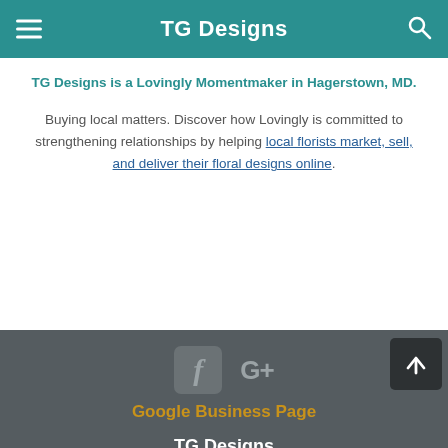TG Designs
TG Designs is a Lovingly Momentmaker in Hagerstown, MD.
Buying local matters. Discover how Lovingly is committed to strengthening relationships by helping local florists market, sell, and deliver their floral designs online.
[Figure (logo): Facebook icon (F in a box) and Google+ icon (G+) social media buttons]
Google Business Page
TG Designs
19231 Longmeadow Rd Hagerstown MD 21742
+1 (301) 766-9580
[Figure (other): Payment method icons: VISA, American Express, Discover, Mastercard, Apple Pay]